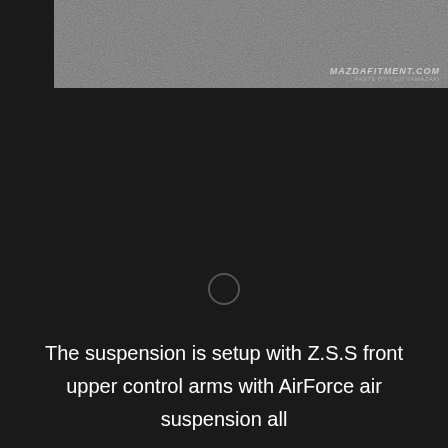[Figure (photo): Partial photo of a Mazda car with a gray metallic surface, with MAZDAFITMENT.COM watermark and 'PASTE BY YUJI YAMAZAKI' text in the lower right corner]
The suspension is setup with Z.S.S front upper control arms with AirForce air suspension all